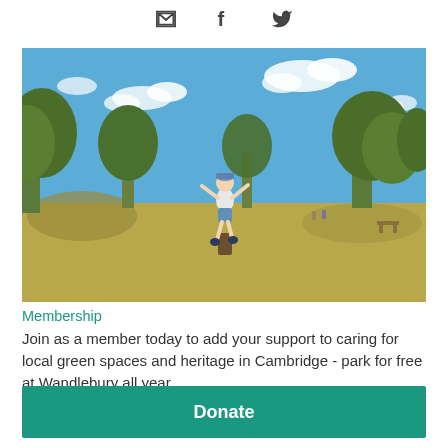[Figure (illustration): Three social media icons: envelope (email), Facebook f, and Twitter bird, centered at top of page]
[Figure (photo): A child jumping joyfully in a sunny park with green trees, dry golden grass, and a bright blue sky with white clouds - Wandlebury park, Cambridge]
Membership
Join as a member today to add your support to caring for local green spaces and heritage in Cambridge - park for free at Wandlebury all year.
Donate